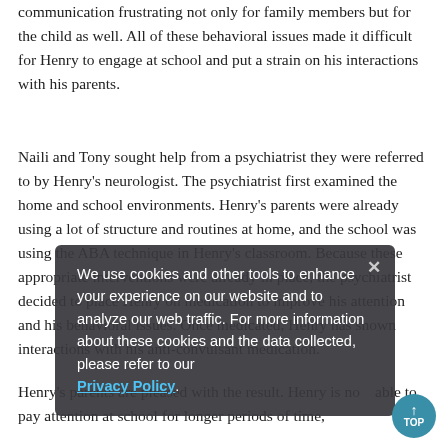communication frustrating not only for family members but for the child as well. All of these behavioral issues made it difficult for Henry to engage at school and put a strain on his interactions with his parents.
Naili and Tony sought help from a psychiatrist they were referred to by Henry's neurologist. The psychiatrist first examined the home and school environments. Henry's parents were already using a lot of structure and routines at home, and the school was using the ABA technique in Henry's classroom. Because these appropriate interventions were already in place, the psychiatrist decided to place Henry on medication to improve his attention and his behavioral issues. Once medicated, Henry has shown interactions with his anti-convulsant medication.
[Figure (screenshot): Cookie consent overlay with text: 'We use cookies and other tools to enhance your experience on our website and to analyze our web traffic. For more information about these cookies and the data collected, please refer to our Privacy Policy.' with a close X button]
Henry's parents are pleased with the result. Henry is now able to pay attention at school for longer periods of time,
[Figure (other): A teal circular TOP button with an upward arrow]